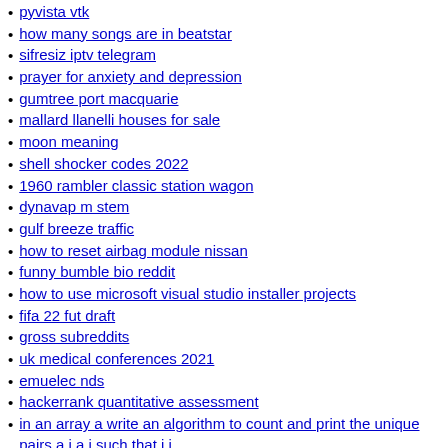pyvista vtk
how many songs are in beatstar
sifresiz iptv telegram
prayer for anxiety and depression
gumtree port macquarie
mallard llanelli houses for sale
moon meaning
shell shocker codes 2022
1960 rambler classic station wagon
dynavap m stem
gulf breeze traffic
how to reset airbag module nissan
funny bumble bio reddit
how to use microsoft visual studio installer projects
fifa 22 fut draft
gross subreddits
uk medical conferences 2021
emuelec nds
hackerrank quantitative assessment
in an array a write an algorithm to count and print the unique pairs a i a j such that i j
stromberg aircraft carburetor rebuilding service
romantic treehouse cabins
vim outline mode
gamelist xml generator